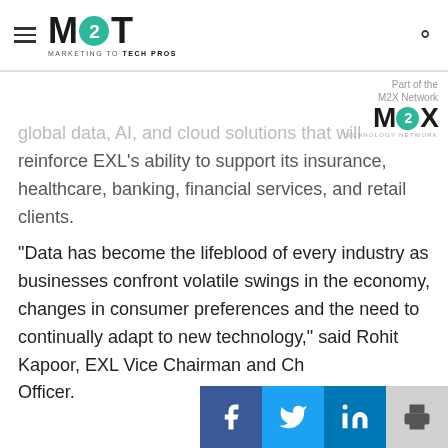M2T — Marketing to Tech Pros
[Figure (logo): M2X Network Technology Network badge in top right]
global data, AI, and cloud solutions that will reinforce EXL's ability to support its insurance, healthcare, banking, financial services, and retail clients.
“Data has become the lifeblood of every industry as businesses confront volatile swings in the economy, changes in consumer preferences and the need to continually adapt to new technology,” said Rohit Kapoor, EXL Vice Chairman and Chief Executive Officer.